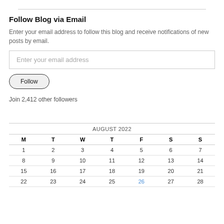Follow Blog via Email
Enter your email address to follow this blog and receive notifications of new posts by email.
Enter your email address
Follow
Join 2,412 other followers
| M | T | W | T | F | S | S |
| --- | --- | --- | --- | --- | --- | --- |
| 1 | 2 | 3 | 4 | 5 | 6 | 7 |
| 8 | 9 | 10 | 11 | 12 | 13 | 14 |
| 15 | 16 | 17 | 18 | 19 | 20 | 21 |
| 22 | 23 | 24 | 25 | 26 | 27 | 28 |